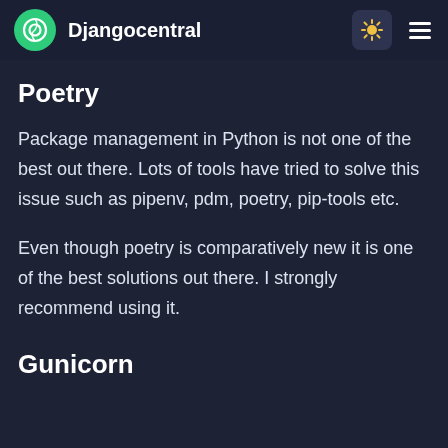Djangocentral
Poetry
Package management in Python is not one of the best out there. Lots of tools have tried to solve this issue such as pipenv, pdm, poetry, pip-tools etc.
Even though poetry is comparatively new it is one of the best solutions out there. I strongly recommend using it.
Gunicorn